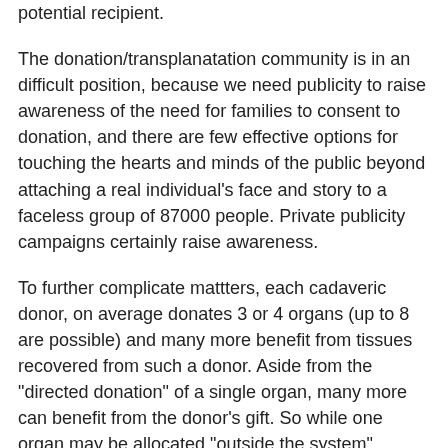potential recipient.
The donation/transplanatation community is in an difficult position, because we need publicity to raise awareness of the need for families to consent to donation, and there are few effective options for touching the hearts and minds of the public beyond attaching a real individual's face and story to a faceless group of 87000 people. Private publicity campaigns certainly raise awareness.
To further complicate mattters, each cadaveric donor, on average donates 3 or 4 organs (up to 8 are possible) and many more benefit from tissues recovered from such a donor. Aside from the "directed donation" of a single organ, many more can benefit from the donor's gift. So while one organ may be allocated "outside the system", several more would be used for those determined to have the greatest need.